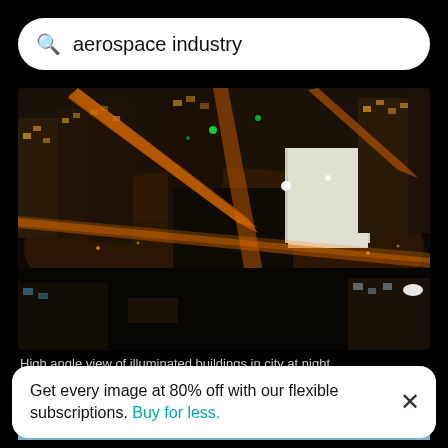aerospace industry
[Figure (photo): High angle aerial view of illuminated city buildings at night with orange-lit streets and dark areas]
High angle view of illuminated buildings in city at night
[Figure (photo): Partially visible image showing sky and horizon, likely an aerial/aerospace photograph]
Get every image at 80% off with our flexible subscriptions. Buy for less.